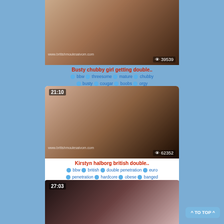[Figure (screenshot): Video thumbnail - busty chubby girl, duration 21:10 area (partially visible at top), views 39539]
Busty chubby girl getting double..
bbw  threesome  mature  chubby  busty  cougar  boobs  orgy
[Figure (screenshot): Video thumbnail - Kirstyn halborg british double, duration 21:10, views 62352]
Kirstyn halborg british double..
bbw  british  double penetration  euro  penetration  hardcore  obese  banged
[Figure (screenshot): Video thumbnail - partially visible, duration 27:03]
^ TO TOP ^